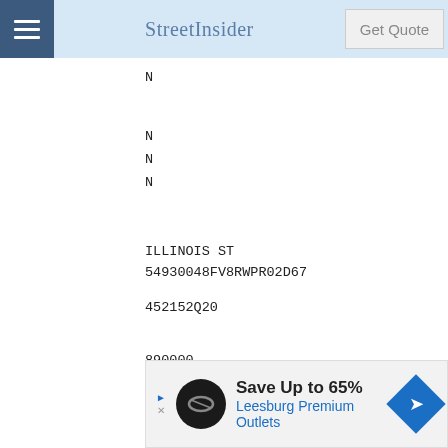StreetInsider | Get Quote
N
N
N
N
ILLINOIS ST
54930048FV8RWPR02D67
452152Q20
890000
PA
USD
982177.66
[Figure (infographic): Advertisement banner: Save Up to 65% - Leesburg Premium Outlets with navigation arrow icon]